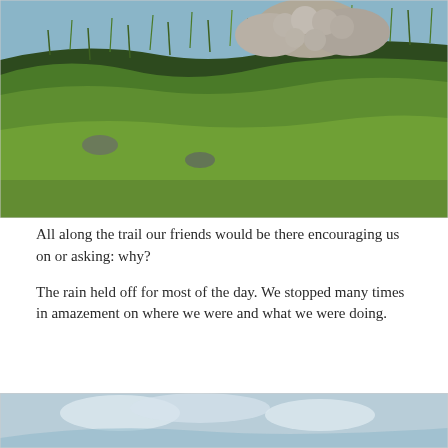[Figure (photo): A sheep standing on a grassy hillside slope with tall green grass and a light blue sky in the background. The sheep's woolly body is partially visible at the top of the frame.]
All along the trail our friends would be there encouraging us on or asking: why?
The rain held off for most of the day. We stopped many times in amazement on where we were and what we were doing.
[Figure (photo): Partial view of a second photo showing a sky and distant landscape, cropped at the bottom of the page.]